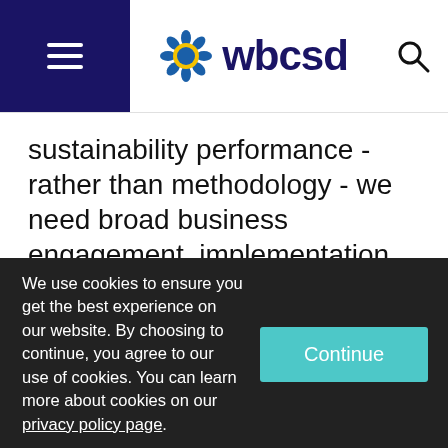wbcsd
sustainability performance - rather than methodology - we need broad business engagement, implementation of natural capital measurement and valuation. At the same time, sector specific guidance will be important to ensure relevance and applicability for all
We use cookies to ensure you get the best experience on our website. By choosing to continue, you agree to our use of cookies. You can learn more about cookies on our privacy policy page.